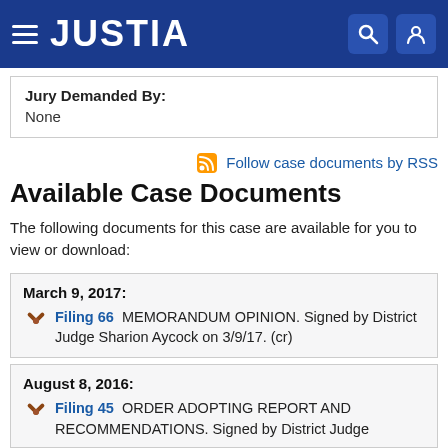JUSTIA
| Field | Value |
| --- | --- |
| Jury Demanded By: | None |
Follow case documents by RSS
Available Case Documents
The following documents for this case are available for you to view or download:
March 9, 2017: Filing 66  MEMORANDUM OPINION. Signed by District Judge Sharion Aycock on 3/9/17. (cr)
August 8, 2016: Filing 45  ORDER ADOPTING REPORT AND RECOMMENDATIONS. Signed by District Judge